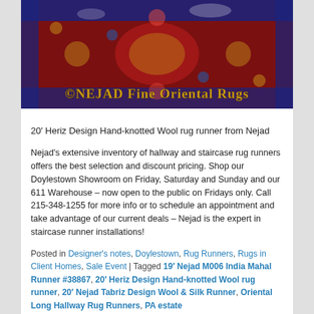[Figure (photo): Close-up photo of a colorful oriental rug with intricate patterns in red, blue, and gold. A watermark reads '©NEJAD Fine Oriental Rugs' in gold text at the bottom.]
20' Heriz Design Hand-knotted Wool rug runner from Nejad
Nejad's extensive inventory of hallway and staircase rug runners offers the best selection and discount pricing. Shop our Doylestown Showroom on Friday, Saturday and Sunday and our 611 Warehouse – now open to the public on Fridays only. Call 215-348-1255 for more info or to schedule an appointment and take advantage of our current deals – Nejad is the expert in staircase runner installations!
Posted in Designer's notes, Doylestown, Rug Runners, Rugs in Client Homes, Sale Event | Tagged 19' Nejad M006 India Mahal Runner #38867, 20' Heriz Design Hand-knotted Wool rug runner, 20' Nejad Tabriz Design Wool & Silk Runner, Oriental Long Hallway Rug Runners, PA estate